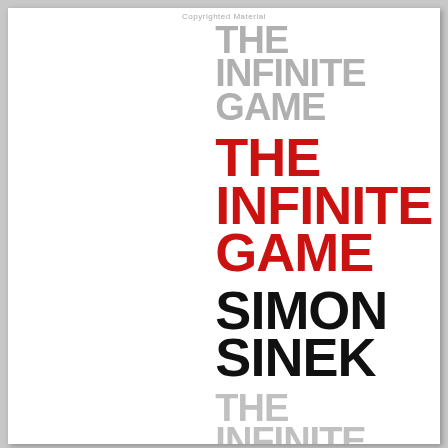Copyrighted Material
THE INFINITE GAME THE INFINITE GAME SIMON SINEK THE INFINITE
[Figure (illustration): Book cover of 'The Infinite Game' by Simon Sinek. The right half shows the book title repeated three times in overlapping layers: first in gray, then in red (the main title), then in black for the author name 'Simon Sinek', and again in light gray at the bottom. The left portion of the cover is white/blank.]